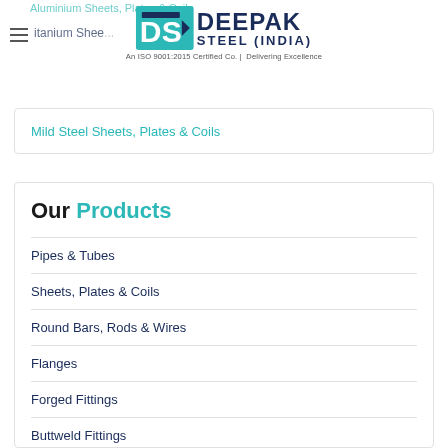Aluminium Sheets, Plates & Coils
[Figure (logo): Deepak Steel India logo with teal DS monogram icon and company name in dark navy blue text, tagline: An ISO 9001:2015 Certified Co. | Delivering Excellence]
Titanium Sheets, Plates & ...
Mild Steel Sheets, Plates & Coils
Our Products
Pipes & Tubes
Sheets, Plates & Coils
Round Bars, Rods & Wires
Flanges
Forged Fittings
Buttweld Fittings
Instrumentation Fittings
Fasteners